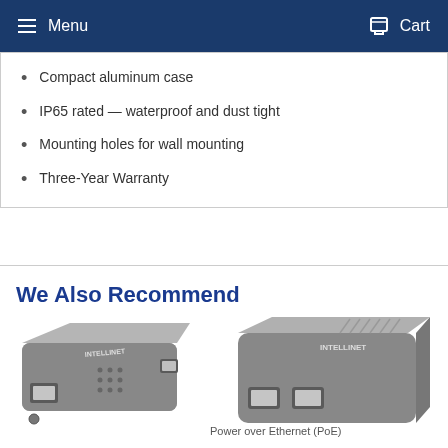Menu  Cart
Compact aluminum case
IP65 rated — waterproof and dust tight
Mounting holes for wall mounting
Three-Year Warranty
We Also Recommend
[Figure (photo): Two Intellinet PoE networking devices shown side by side — a compact injector on the left and a dual-port PoE injector on the right, both in dark gray metal housing]
Power over Ethernet (PoE)